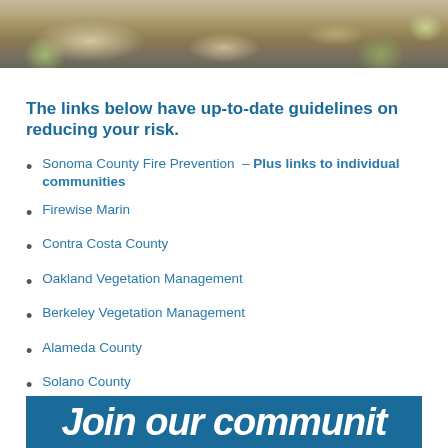[Figure (photo): Outdoor garden/landscape photo showing stone path with rocks, gravel, and drought-tolerant shrubs with yellow flowers]
The links below have up-to-date guidelines on reducing your risk.
Sonoma County Fire Prevention – Plus links to individual communities
Firewise Marin
Contra Costa County
Oakland Vegetation Management
Berkeley Vegetation Management
Alameda County
Solano County
[Figure (other): Teal/dark blue banner strip at bottom with large white italic text beginning 'Join our communit...']